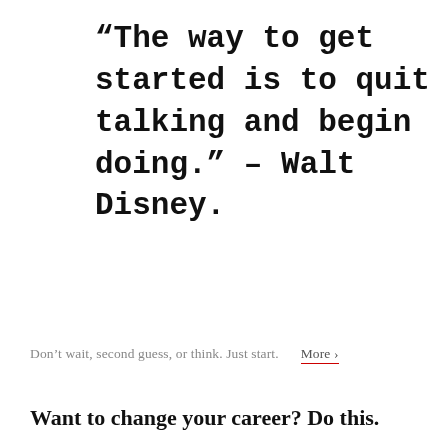“The way to get started is to quit talking and begin doing.” – Walt Disney.
Don’t wait, second guess, or think. Just start.  More ›
Want to change your career? Do this.